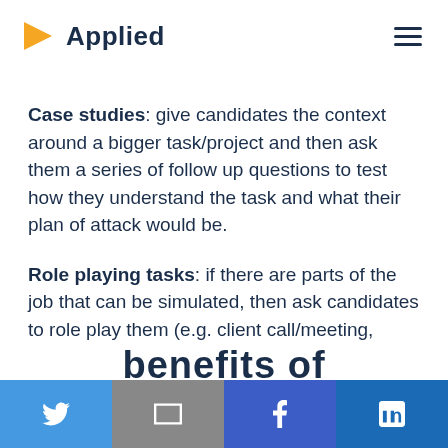Applied
Case studies: give candidates the context around a bigger task/project and then ask them a series of follow up questions to test how they understand the task and what their plan of attack would be.
Role playing tasks: if there are parts of the job that can be simulated, then ask candidates to role play them (e.g. client call/meeting, presentation).
Social share bar: Twitter, Email, Facebook, LinkedIn